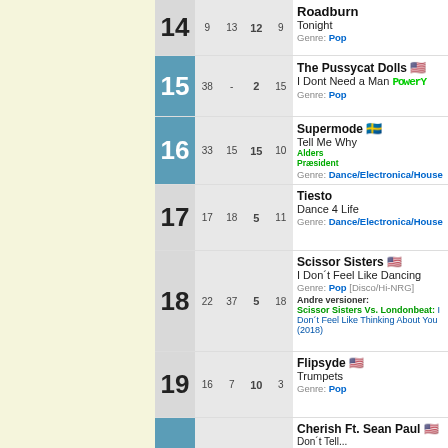| # | prev | peak | wks | art/title |
| --- | --- | --- | --- | --- |
| 14 | 9 | 13 | 12 | 9 | Roadburn / Tonight / Genre: Pop |
| 15 | 38 | - | 2 | 15 | The Pussycat Dolls / I Dont Need a Man / Genre: Pop |
| 16 | 33 | 15 | 15 | 10 | Supermode / Tell Me Why / Genre: Dance/Electronica/House |
| 17 | 17 | 18 | 5 | 11 | Tiesto / Dance 4 Life / Genre: Dance/Electronica/House |
| 18 | 22 | 37 | 5 | 18 | Scissor Sisters / I Don't Feel Like Dancing / Genre: Pop [Disco/Hi-NRG] / Andre versioner: Scissor Sisters Vs. Londonbeat: I Don't Feel Like Thinking About You (2018) |
| 19 | 16 | 7 | 10 | 3 | Flipsyde / Trumpets / Genre: Pop |
| 20 |  |  |  |  | Cherish Ft. Sean Paul / ... |